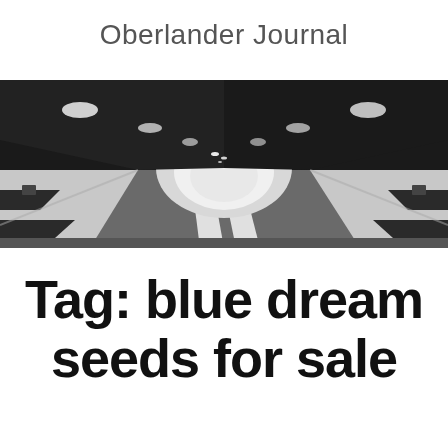Oberlander Journal
[Figure (photo): Black and white photograph of a road tunnel interior, showing perspective view down the tunnel with overhead lights, striped walls, and road markings.]
Tag: blue dream seeds for sale